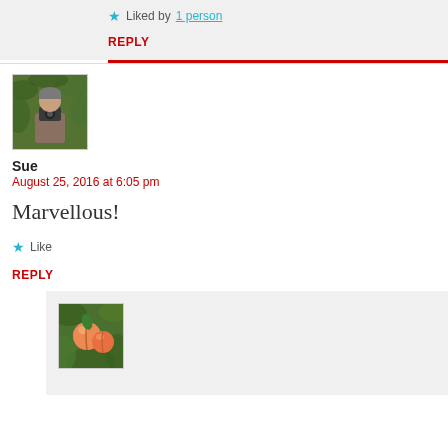Liked by 1 person
REPLY
[Figure (photo): Avatar photo of commenter Sue — person holding a camera outdoors with green foliage background]
Sue
August 25, 2016 at 6:05 pm
Marvellous!
Like
REPLY
[Figure (photo): Small thumbnail avatar showing peaches or similar orange fruit with green leaves]